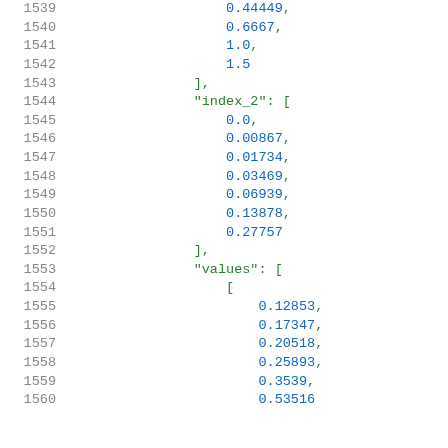Code listing showing JSON/array data with line numbers 1539-1560, containing numeric float values for index_2 and values arrays.